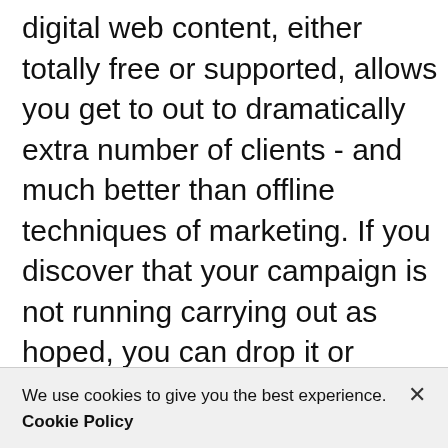digital web content, either totally free or supported, allows you get to out to dramatically extra number of clients - and much better than offline techniques of marketing. If you discover that your campaign is not running carrying out as hoped, you can drop it or attempt a substitute digital marketing strategy at when.
We use cookies to give you the best experience. Cookie Policy